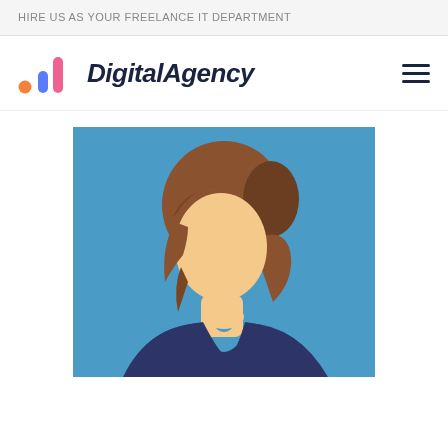HIRE US AS YOUR FREELANCE IT DEPARTMENT
[Figure (logo): DigitalAgency logo with colorful bar chart icon and hamburger menu]
[Figure (illustration): Flat-style avatar illustration of a woman with short brown hair, skin-tone face and neck, dark navy top, on a blue background]